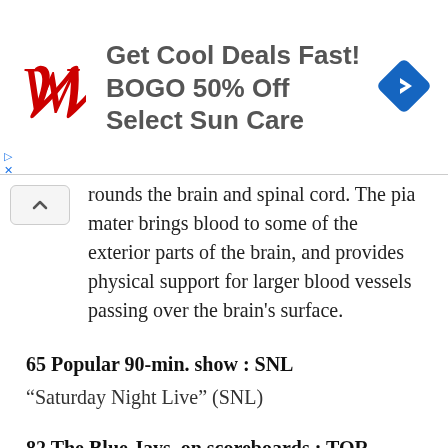[Figure (infographic): Walgreens advertisement banner: red cursive W logo, text 'Get Cool Deals Fast! BOGO 50% Off Select Sun Care', blue diamond navigation icon]
rounds the brain and spinal cord. The pia mater brings blood to some of the exterior parts of the brain, and provides physical support for larger blood vessels passing over the brain's surface.
65 Popular 90-min. show : SNL
“Saturday Night Live” (SNL)
82 The Blue Jays, on scoreboards : TOR
The Toronto Blue Jays baseball franchise was founded in 1977. The Blue Jays are the only team